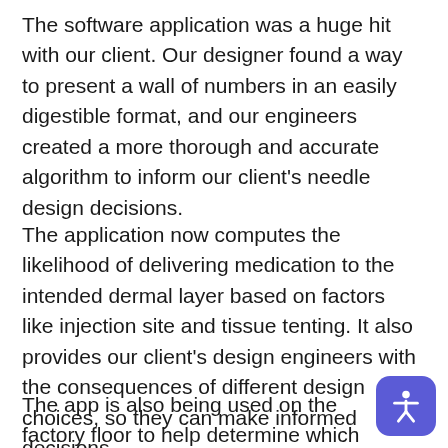The software application was a huge hit with our client. Our designer found a way to present a wall of numbers in an easily digestible format, and our engineers created a more thorough and accurate algorithm to inform our client's needle design decisions.
The application now computes the likelihood of delivering medication to the intended dermal layer based on factors like injection site and tissue tenting. It also provides our client's design engineers with the consequences of different design choices, so they can make informed decisions.
The app is also being used on the factory floor to help determine which machines should